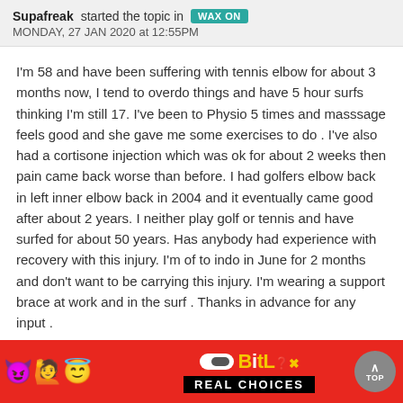Supafreak started the topic in WAX ON
MONDAY, 27 JAN 2020 at 12:55PM
I'm 58 and have been suffering with tennis elbow for about 3 months now, I tend to overdo things and have 5 hour surfs thinking I'm still 17. I've been to Physio 5 times and masssage feels good and she gave me some exercises to do . I've also had a cortisone injection which was ok for about 2 weeks then pain came back worse than before. I had golfers elbow back in left inner elbow back in 2004 and it eventually came good after about 2 years. I neither play golf or tennis and have surfed for about 50 years. Has anybody had experience with recovery with this injury. I'm of to indo in June for 2 months and don't want to be carrying this injury. I'm wearing a support brace at work and in the surf . Thanks in advance for any input .
Log in or register to post comments
[Figure (screenshot): BitLife 'Real Choices' advertisement banner with colorful emojis on red background]